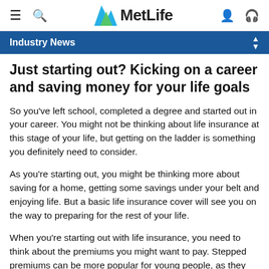MetLife
Industry News
Just starting out? Kicking on a career and saving money for your life goals
So you've left school, completed a degree and started out in your career. You might not be thinking about life insurance at this stage of your life, but getting on the ladder is something you definitely need to consider.
As you're starting out, you might be thinking more about saving for a home, getting some savings under your belt and enjoying life. But a basic life insurance cover will see you on the way to preparing for the rest of your life.
When you're starting out with life insurance, you need to think about the premiums you might want to pay. Stepped premiums can be more popular for young people, as they start out low and increase year on year. But you will need to think ahead and make sure you can cater for those rising